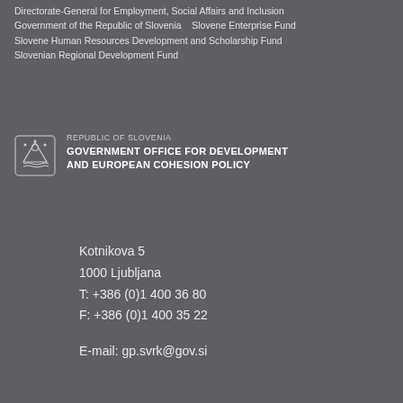Directorate-General for Employment, Social Affairs and Inclusion Government of the Republic of Slovenia    Slovene Enterprise Fund Slovene Human Resources Development and Scholarship Fund Slovenian Regional Development Fund
[Figure (logo): Republic of Slovenia coat of arms logo with text: REPUBLIC OF SLOVENIA / GOVERNMENT OFFICE FOR DEVELOPMENT AND EUROPEAN COHESION POLICY]
Kotnikova 5
1000 Ljubljana
T: +386 (0)1 400 36 80
F: +386 (0)1 400 35 22

E-mail: gp.svrk@gov.si